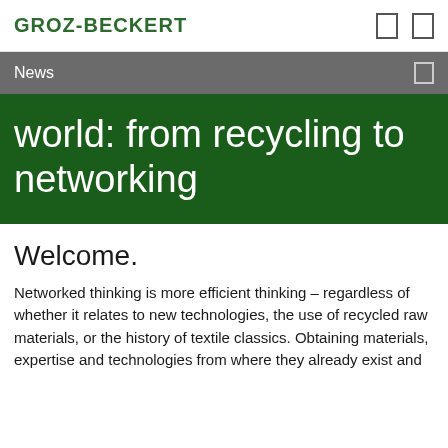GROZ-BECKERT
News
world: from recycling to networking
Welcome.
Networked thinking is more efficient thinking – regardless of whether it relates to new technologies, the use of recycled raw materials, or the history of textile classics. Obtaining materials, expertise and technologies from where they already exist and